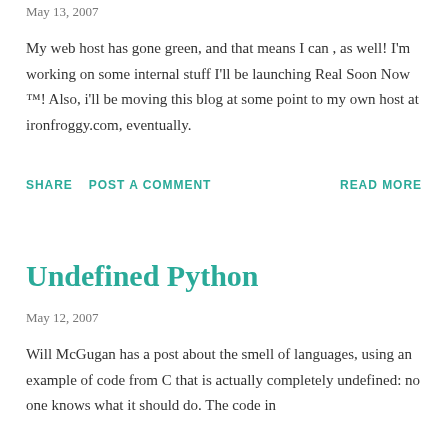May 13, 2007
My web host has gone green, and that means I can , as well! I'm working on some internal stuff I'll be launching Real Soon Now ™! Also, i'll be moving this blog at some point to my own host at ironfroggy.com, eventually.
SHARE   POST A COMMENT   READ MORE
Undefined Python
May 12, 2007
Will McGugan has a post about the smell of languages, using an example of code from C that is actually completely undefined: no one knows what it should do. The code in